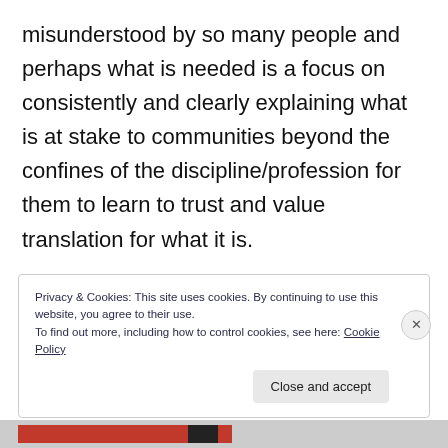misunderstood by so many people and perhaps what is needed is a focus on consistently and clearly explaining what is at stake to communities beyond the confines of the discipline/profession for them to learn to trust and value translation for what it is.
Privacy & Cookies: This site uses cookies. By continuing to use this website, you agree to their use.
To find out more, including how to control cookies, see here: Cookie Policy
Close and accept